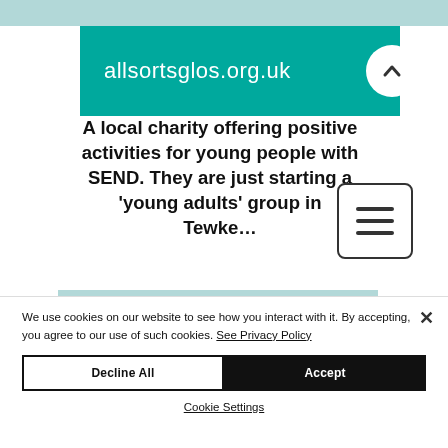[Figure (screenshot): Top light blue bar at the top of the page, partial header of a website]
allsortsglos.org.uk
A local charity offering positive activities for young people with SEND. They are just starting a 'young adults' group in Tewke...
[Figure (screenshot): Mid light blue bar separator]
We use cookies on our website to see how you interact with it. By accepting, you agree to our use of such cookies. See Privacy Policy
Decline All
Accept
Cookie Settings